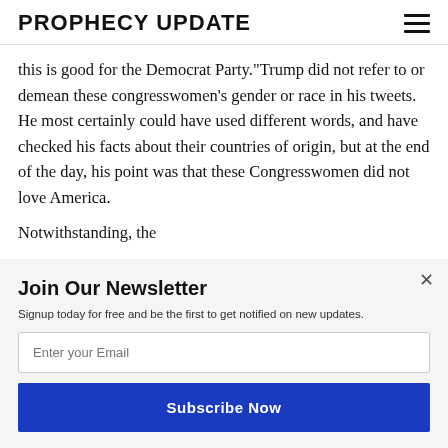PROPHECY UPDATE
this is good for the Democrat Party."Trump did not refer to or demean these congresswomen's gender or race in his tweets. He most certainly could have used different words, and have checked his facts about their countries of origin, but at the end of the day, his point was that these Congresswomen did not love America.
Notwithstanding, these congresswomen held a news
[Figure (infographic): Powered by Sumo badge/banner with crown logo]
Join Our Newsletter
Signup today for free and be the first to get notified on new updates.
Enter your Email
Subscribe Now